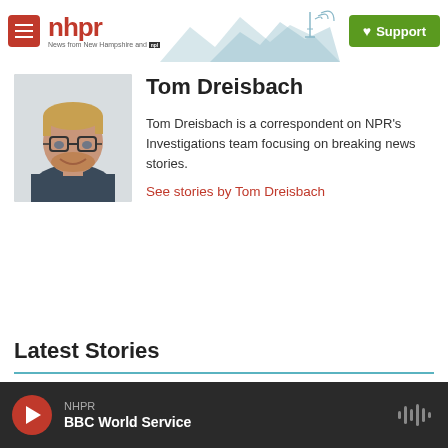nhpr — News from New Hampshire and NPR
Tom Dreisbach
[Figure (photo): Headshot of Tom Dreisbach, a man with glasses and a beard, smiling, wearing a dark shirt]
Tom Dreisbach is a correspondent on NPR's Investigations team focusing on breaking news stories.
See stories by Tom Dreisbach
Latest Stories
NHPR BBC World Service